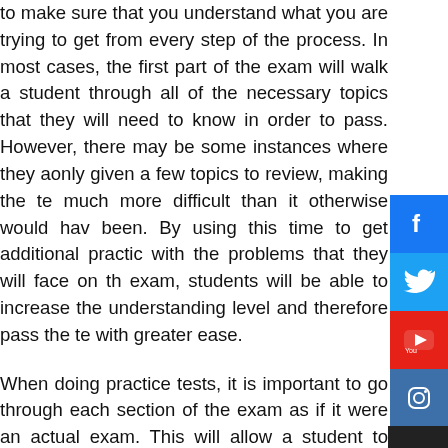to make sure that you understand what you are trying to get from every step of the process. In most cases, the first part of the exam will walk a student through all of the necessary topics that they will need to know in order to pass. However, there may be some instances where they are only given a few topics to review, making the test much more difficult than it otherwise would have been. By using this time to get additional practice with the problems that they will face on the exam, students will be able to increase their understanding level and therefore pass the test with greater ease.
When doing practice tests, it is important to go through each section of the exam as if it were an actual exam. This will allow a student to become accustomed to the types of questions that they will likely be asked on the exam, and therefore